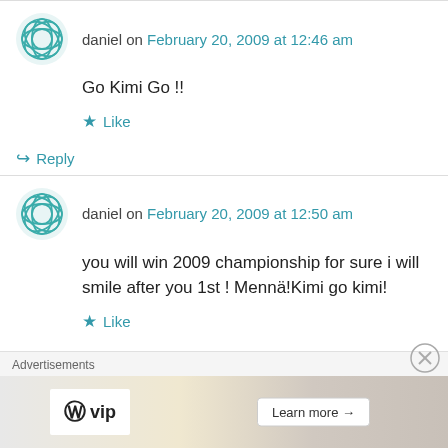daniel on February 20, 2009 at 12:46 am
Go Kimi Go !!
Like
Reply
daniel on February 20, 2009 at 12:50 am
you will win 2009 championship for sure i will smile after you 1st ! Mennä!Kimi go kimi!
Like
Advertisements